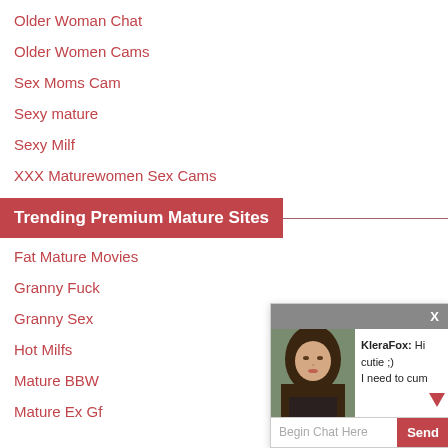Older Woman Chat
Older Women Cams
Sex Moms Cam
Sexy mature
Sexy Milf
XXX Maturewomen Sex Cams
Trending Premium Mature Sites
Fat Mature Movies
Granny Fuck
Granny Sex
Hot Milfs
Mature BBW
Mature Ex Gf
[Figure (screenshot): Chat popup with photo of a young woman with long brown hair, username KleraFox saying 'Hi cutie ;) I need to cum', with a 'Begin Chat Here' input field and 'Send' button]